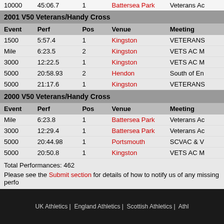| Event | Perf | Pos | Venue | Meeting |
| --- | --- | --- | --- | --- |
| 10000 | 45:06.7 | 1 | Battersea Park | Veterans AC |
2001 V50 Veterans/Handy Cross
| Event | Perf | Pos | Venue | Meeting |
| --- | --- | --- | --- | --- |
| 1500 | 5:57.4 | 1 | Kingston | VETERANS |
| Mile | 6:23.5 | 2 | Kingston | VETS AC M |
| 3000 | 12:22.5 | 1 | Kingston | VETS AC M |
| 5000 | 20:58.93 | 2 | Hendon | South of En |
| 5000 | 21:17.6 | 1 | Kingston | VETERANS |
2000 V50 Veterans/Handy Cross
| Event | Perf | Pos | Venue | Meeting |
| --- | --- | --- | --- | --- |
| Mile | 6:23.8 | 1 | Battersea Park | Veterans Ac |
| 3000 | 12:29.4 | 1 | Battersea Park | Veterans Ac |
| 5000 | 20:44.98 | 1 | Portsmouth | SCVAC & V |
| 5000 | 20:50.8 | 1 | Kingston | VETS AC M |
Total Performances: 462
Please see the Submit section for details of how to notify us of any missing perfo
Blog
None
UK Athletics | England Athletics | Scottish Athletics | Athl